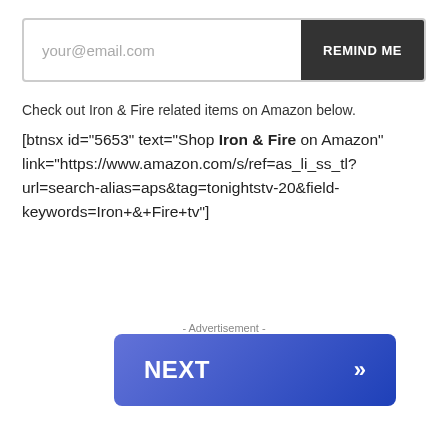[Figure (screenshot): Email input field with placeholder 'your@email.com' and a dark 'REMIND ME' button]
Check out Iron & Fire related items on Amazon below.
[btnsx id="5653" text="Shop Iron & Fire on Amazon" link="https://www.amazon.com/s/ref=as_li_ss_tl?url=search-alias=aps&tag=tonightstv-20&field-keywords=Iron+&+Fire+tv"]
- Advertisement -
[Figure (screenshot): Blue gradient NEXT button with double chevron arrow]